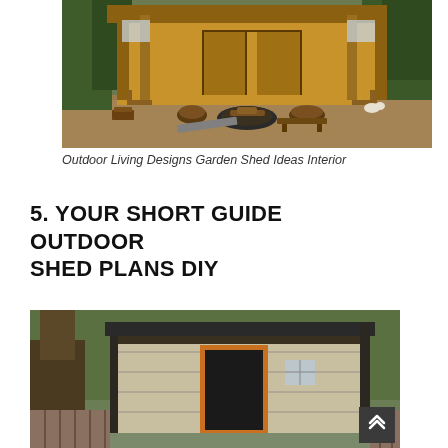[Figure (photo): Outdoor rustic wooden shed/cabin with a fire pit in the center, log stumps and benches used as seating, chairs and firewood visible, surrounded by trees and wood chip ground cover.]
Outdoor Living Designs Garden Shed Ideas Interior
5. YOUR SHORT GUIDE OUTDOOR SHED PLANS DIY
[Figure (photo): Modern flat-roof outdoor storage shed with tan/beige horizontal siding, dark trim, an orange-framed dark door, and a small window. Large tree trunk visible to the left. Wood fence in background.]